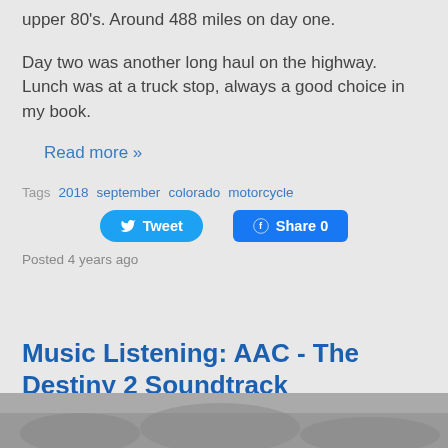upper 80's. Around 488 miles on day one.
Day two was another long haul on the highway. Lunch was at a truck stop, always a good choice in my book.
Read more »
Tags  2018  september  colorado  motorcycle
Posted 4 years ago
Music Listening: AAC - The Destiny 2 Soundtrack
[Figure (photo): Partial image at bottom of page]